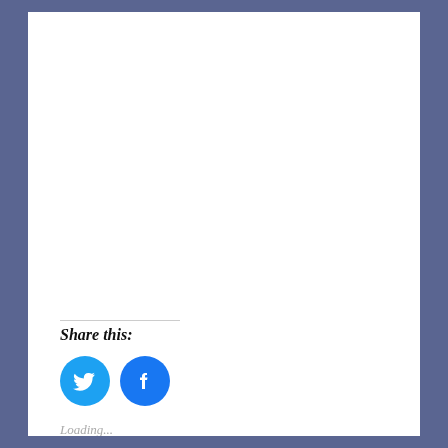Share this:
[Figure (illustration): Two circular social media share buttons: Twitter (blue bird icon) and Facebook (blue F icon)]
Loading...